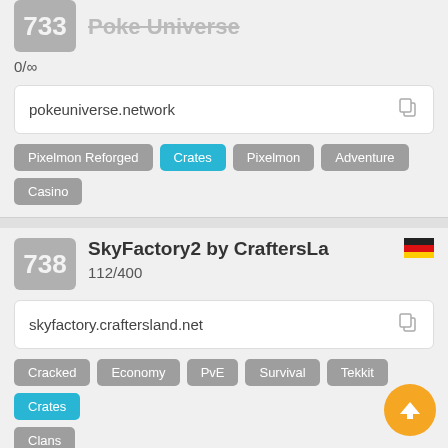733
0/∞
pokeuniverse.network
Pixelmon Reforged
Crates
Pixelmon
Adventure
Casino
738
SkyFactory2 by CraftersLa
112/400
skyfactory.craftersland.net
Cracked
Economy
PvE
Survival
Tekkit
Crates
Clans
791
Primal Lands